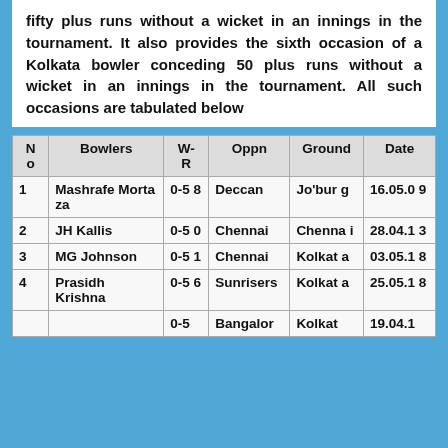fifty plus runs without a wicket in an innings in the tournament. It also provides the sixth occasion of a Kolkata bowler conceding 50 plus runs without a wicket in an innings in the tournament. All such occasions are tabulated below
| No | Bowlers | W-R | Oppn | Ground | Date |
| --- | --- | --- | --- | --- | --- |
| 1 | Mashrafe Mortaza | 0-58 | Deccan | Jo'bur g | 16.05.0 9 |
| 2 | JH Kallis | 0-50 | Chennai | Chenna i | 28.04.1 3 |
| 3 | MG Johnson | 0-51 | Chennai | Kolkat a | 03.05.1 8 |
| 4 | Prasidh Krishna | 0-56 | Sunrisers | Kolkat a | 25.05.1 8 |
| 5 |  | 0-5 | Bangalor | Kolkat | 19.04.1 |